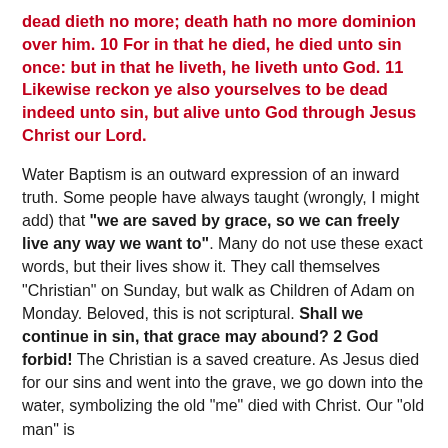dead dieth no more; death hath no more dominion over him. 10 For in that he died, he died unto sin once: but in that he liveth, he liveth unto God. 11 Likewise reckon ye also yourselves to be dead indeed unto sin, but alive unto God through Jesus Christ our Lord.
Water Baptism is an outward expression of an inward truth. Some people have always taught (wrongly, I might add) that "we are saved by grace, so we can freely live any way we want to". Many do not use these exact words, but their lives show it. They call themselves "Christian" on Sunday, but walk as Children of Adam on Monday. Beloved, this is not scriptural. Shall we continue in sin, that grace may abound? 2 God forbid! The Christian is a saved creature. As Jesus died for our sins and went into the grave, we go down into the water, symbolizing the old "me" died with Christ. Our "old man" is